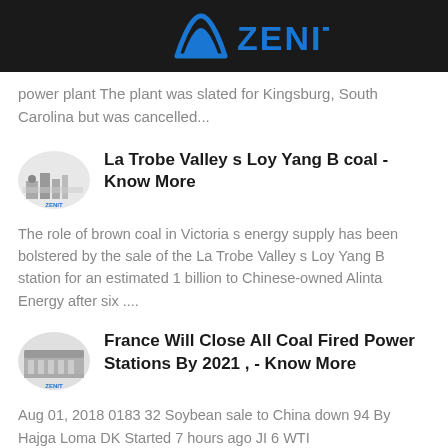ZENIT
power plant The plant was slated for Kingsburg, South Carolina but was cancelled...
La Trobe Valley s Loy Yang B coal - Know More
The role of brown coal in Victoria s energy supply has been bolstered by the sale of the La Trobe Valley s Loy Yang B station for an estimated 1 billion to Chinese-owned Alinta Energy after six ....
France Will Close All Coal Fired Power Stations By 2021 , - Know More
Aug 01, 2018 0183 32 Soybean sale to China down 94 By Hajga Loma DK Started 7 hours ago JI 6 WTI